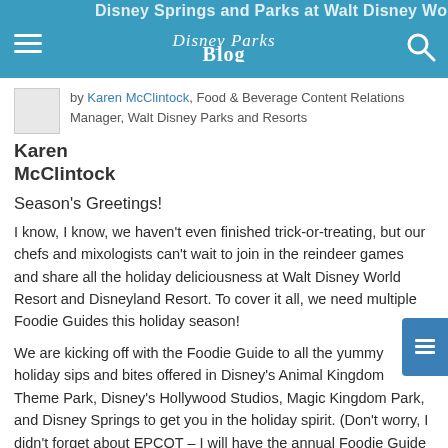Disney Parks Blog
by Karen McClintock, Food & Beverage Content Relations Manager, Walt Disney Parks and Resorts
Karen McClintock
Season's Greetings!
I know, I know, we haven't even finished trick-or-treating, but our chefs and mixologists can't wait to join in the reindeer games and share all the holiday deliciousness at Walt Disney World Resort and Disneyland Resort. To cover it all, we need multiple Foodie Guides this holiday season!
We are kicking off with the Foodie Guide to all the yummy holiday sips and bites offered in Disney's Animal Kingdom Theme Park, Disney's Hollywood Studios, Magic Kingdom Park, and Disney Springs to get you in the holiday spirit. (Don't worry, I didn't forget about EPCOT – I will have the annual Foodie Guide to EPCOT International Festival of the Holidays presented by AdventHealth posted soon.)
Be sure to check back to Disney Parks Blog for the various holiday Foodie Guides so you can find all the places at Disney to eat, drink, and be merry!